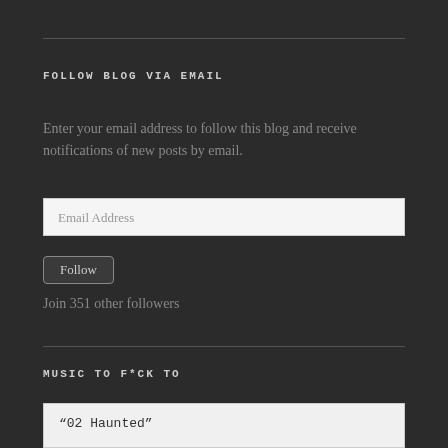FOLLOW BLOG VIA EMAIL
Enter your email address to follow this blog and receive notifications of new posts by email.
Email Address
Follow
Join 351 other followers
MUSIC TO F*CK TO
“02 Haunted”